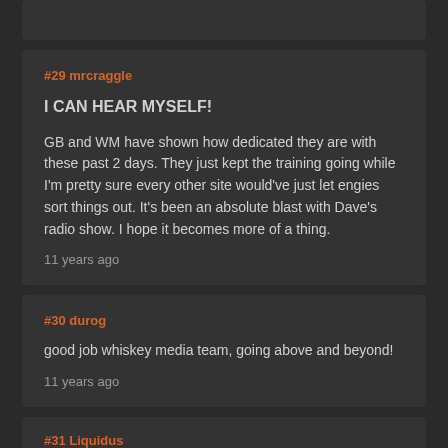#29 mrcraggle
I CAN HEAR MYSELF!
GB and WM have shown how dedicated they are with these past 2 days. They just kept the training going while I'm pretty sure every other site would've just let engies sort things out. It's been an absolute blast with Dave's radio show. I hope it becomes more of a thing.
11 years ago
#30 durog
good job whiskey media team, going above and beyond!
11 years ago
#31 Liquidus